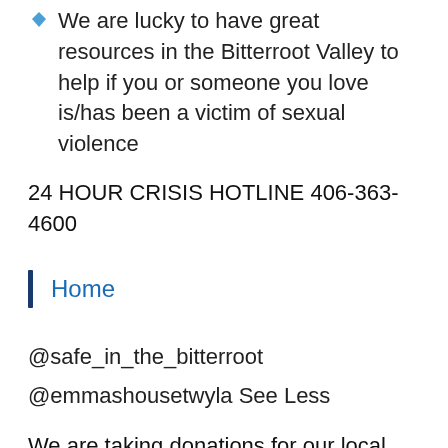We are lucky to have great resources in the Bitterroot Valley to help if you or someone you love is/has been a victim of sexual violence
24 HOUR CRISIS HOTLINE 406-363-4600
Home
@safe_in_the_bitterroot
@emmashousetwyla See Less
We are taking donations for our local Safe House through the month of April. You can visit our donation page on Facebook and